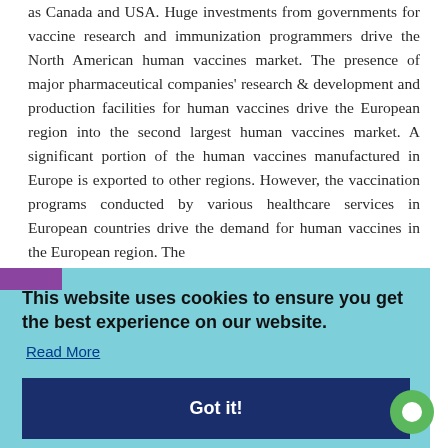as Canada and USA. Huge investments from governments for vaccine research and immunization programmers drive the North American human vaccines market. The presence of major pharmaceutical companies' research & development and production facilities for human vaccines drive the European region into the second largest human vaccines market. A significant portion of the human vaccines manufactured in Europe is exported to other regions. However, the vaccination programs conducted by various healthcare services in European countries drive the demand for human vaccines in the European region. The [partially obscured] ...hina and ...vaccines ...e as the ...vestment ...egs such as product, disease type, distribution channel, and age group.
[Figure (screenshot): Cookie consent banner overlay with light blue/teal background. Contains bold text 'This website uses cookies to ensure you get the best experience on our website.' followed by a 'Read More' underlined link, and a dark navy 'Got it!' button. A purple tab appears on the left edge at the top of the banner.]